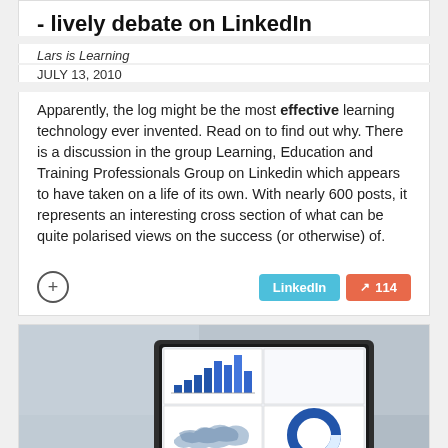- lively debate on LinkedIn
Lars is Learning
JULY 13, 2010
Apparently, the log might be the most effective learning technology ever invented. Read on to find out why. There is a discussion in the group Learning, Education and Training Professionals Group on Linkedin which appears to have taken on a life of its own. With nearly 600 posts, it represents an interesting cross section of what can be quite polarised views on the success (or otherwise) of.
[Figure (photo): Photo of a laptop displaying a dashboard with charts including a bar chart with blue squares, a map, and a donut chart.]